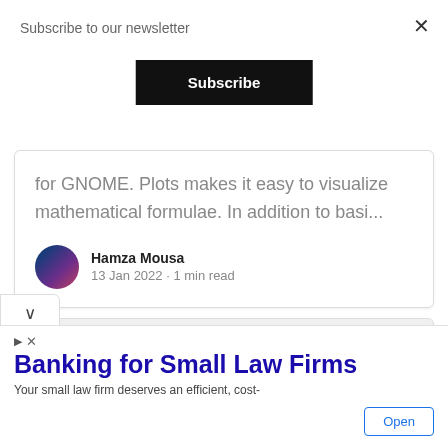Subscribe to our newsletter
Subscribe
for GNOME. Plots makes it easy to visualize mathematical formulae. In addition to basi...
Hamza Mousa
13 Jan 2022 · 1 min read
WEB DEVELOPMENT
Banking for Small Law Firms
Your small law firm deserves an efficient, cost-